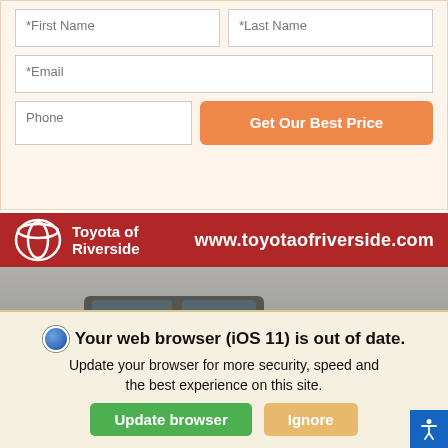[Figure (screenshot): Contact form with fields for First Name, Last Name, Email, Phone, and a Get Our Best Price button on an orange background]
[Figure (photo): Toyota of Riverside dealership banner with logo and website URL www.toyotaofriverside.com, with a dark Toyota Tacoma truck in front of the dealership]
Your web browser (iOS 11) is out of date. Update your browser for more security, speed and the best experience on this site.
Update browser
Ignore